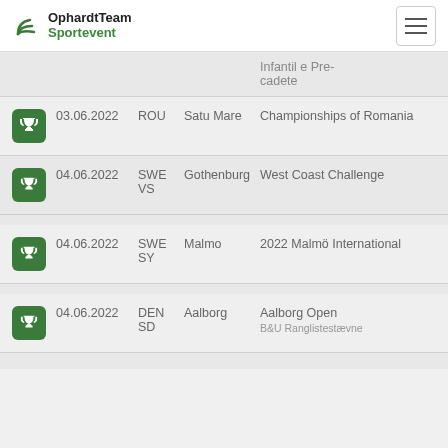OphardtTeam Sportevent
Infantil e Pre-cadete
|  | Date | Country | City | Event |
| --- | --- | --- | --- | --- |
| trophy | 03.06.2022 | ROU | Satu Mare | Championships of Romania |
| trophy | 04.06.2022 | SWE VS | Gothenburg | West Coast Challenge |
| trophy | 04.06.2022 | SWE SY | Malmo | 2022 Malmö International |
| trophy | 04.06.2022 | DEN SD | Aalborg | Aalborg Open
B&U Ranglistestævne |